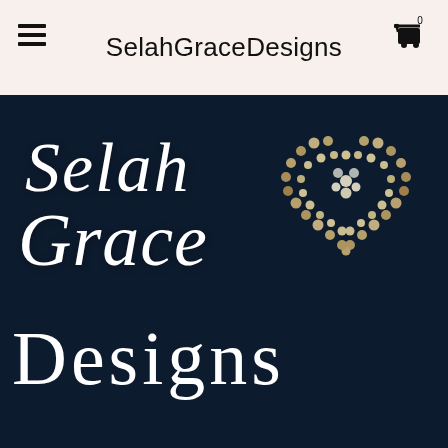SelahGraceDesigns
[Figure (logo): Selah Grace Designs brand logo on dark navy background with white script text reading 'Selah Grace' in italic, bold serif 'Designs' text, and a decorative heart made of jewels/dots in the upper right]